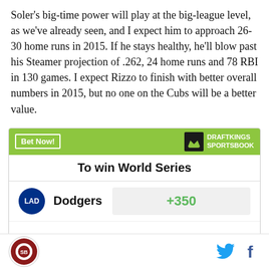Soler's big-time power will play at the big-league level, as we've already seen, and I expect him to approach 26-30 home runs in 2015. If he stays healthy, he'll blow past his Steamer projection of .262, 24 home runs and 78 RBI in 130 games. I expect Rizzo to finish with better overall numbers in 2015, but no one on the Cubs will be a better value.
[Figure (other): DraftKings Sportsbook betting widget showing 'To win World Series' with Dodgers at +350 odds]
Site logo | Twitter icon | Facebook icon